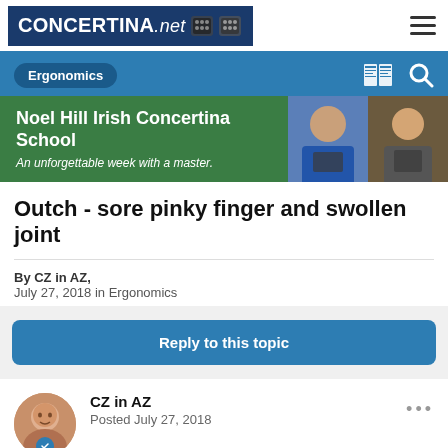CONCERTINA.net
Ergonomics
[Figure (illustration): Noel Hill Irish Concertina School advertisement banner — green background with bold white text 'Noel Hill Irish Concertina School' and italic subtitle 'An unforgettable week with a master.' with photos of two musicians on the right.]
Outch - sore pinky finger and swollen joint
By CZ in AZ, July 27, 2018 in Ergonomics
Reply to this topic
CZ in AZ
Posted July 27, 2018